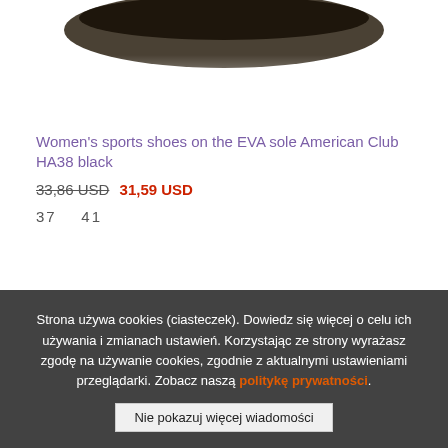[Figure (photo): Partial view of women's sports shoe on EVA sole, dark colored, shown at top of page cropped]
Women's sports shoes on the EVA sole American Club HA38 black
33,86 USD 31,59 USD
37    41
Strona używa cookies (ciasteczek). Dowiedz się więcej o celu ich używania i zmianach ustawień. Korzystając ze strony wyrażasz zgodę na używanie cookies, zgodnie z aktualnymi ustawieniami przeglądarki. Zobacz naszą politykę prywatności.
Nie pokazuj więcej wiadomości